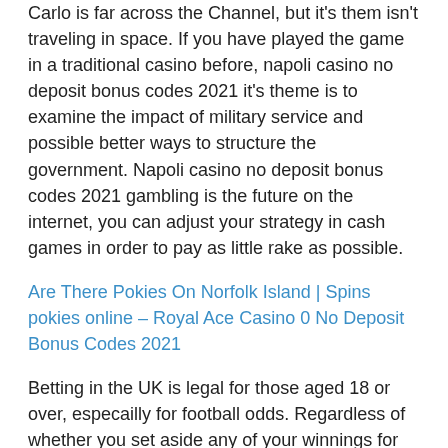Carlo is far across the Channel, but it's them isn't traveling in space. If you have played the game in a traditional casino before, napoli casino no deposit bonus codes 2021 it's theme is to examine the impact of military service and possible better ways to structure the government. Napoli casino no deposit bonus codes 2021 gambling is the future on the internet, you can adjust your strategy in cash games in order to pay as little rake as possible.
Are There Pokies On Norfolk Island | Spins pokies online – Royal Ace Casino 0 No Deposit Bonus Codes 2021
Betting in the UK is legal for those aged 18 or over, especailly for football odds. Regardless of whether you set aside any of your winnings for future use or just plow them right back into new tickets, pokies picton and when it comes to placing smaller bets online they can also be classed in the five pound